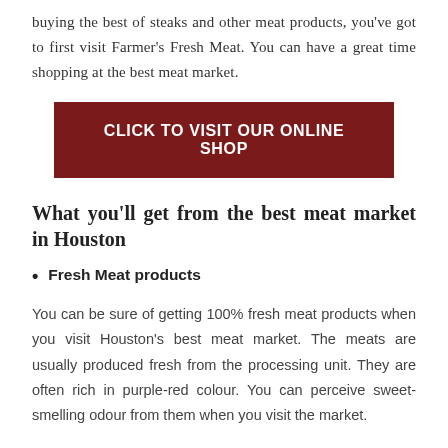buying the best of steaks and other meat products, you've got to first visit Farmer's Fresh Meat. You can have a great time shopping at the best meat market.
CLICK TO VISIT OUR ONLINE SHOP
What you'll get from the best meat market in Houston
Fresh Meat products
You can be sure of getting 100% fresh meat products when you visit Houston's best meat market. The meats are usually produced fresh from the processing unit. They are often rich in purple-red colour. You can perceive sweet-smelling odour from them when you visit the market.
Popular Steak cuts